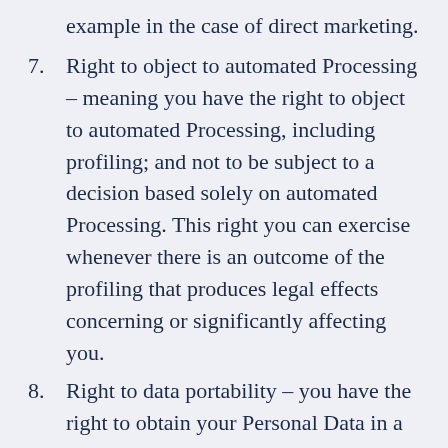example in the case of direct marketing.
7. Right to object to automated Processing – meaning you have the right to object to automated Processing, including profiling; and not to be subject to a decision based solely on automated Processing. This right you can exercise whenever there is an outcome of the profiling that produces legal effects concerning or significantly affecting you.
8. Right to data portability – you have the right to obtain your Personal Data in a machine-